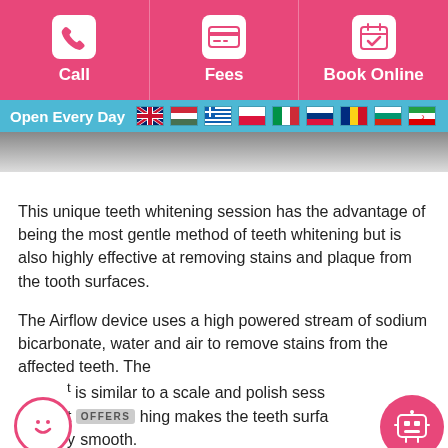[Figure (other): Top navigation bar with three pink buttons: Call (phone icon), Fees (credit card icon), Book Online (calendar with checkmark icon)]
[Figure (infographic): Blue banner reading 'Open Every Day' with flag icons for UK, Hungary, Greece, Poland, Italy, Russia, Romania, Bulgaria, Iran]
[Figure (photo): Close-up photo strip of teeth/mouth area]
This unique teeth whitening session has the advantage of being the most gentle method of teeth whitening but is also highly effective at removing stains and plaque from the tooth surfaces.
The Airflow device uses a high powered stream of sodium bicarbonate, water and air to remove stains from the affected teeth. The t is similar to a scale and polish sess t OFFERS hing makes the teeth surfa y smooth.